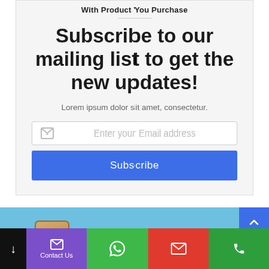With Product You Purchase
Subscribe to our mailing list to get the new updates!
Lorem ipsum dolor sit amet, consectetur.
Enter your Email address
Subscribe
[Figure (screenshot): Bottom banner with sky blue background showing a smartphone, clouds, and Express Taxi logo]
Contact Us | WhatsApp | Mail | Phone